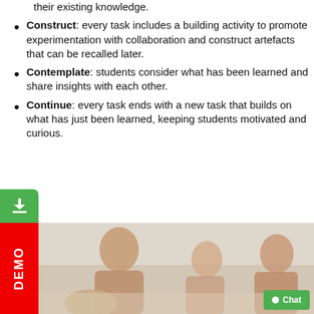their existing knowledge.
Construct: every task includes a building activity to promote experimentation with collaboration and construct artefacts that can be recalled later.
Contemplate: students consider what has been learned and share insights with each other.
Continue: every task ends with a new task that builds on what has just been learned, keeping students motivated and curious.
[Figure (photo): Classroom photo showing a teacher leaning over to assist students working at a table, with two other students visible in the background.]